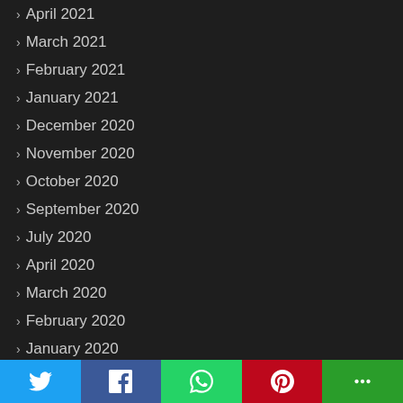April 2021
March 2021
February 2021
January 2021
December 2020
November 2020
October 2020
September 2020
July 2020
April 2020
March 2020
February 2020
January 2020
June 2019
March 2019
January 2019
December 2018
[Figure (infographic): Social sharing bar with Twitter, Facebook, WhatsApp, Pinterest, and More buttons]